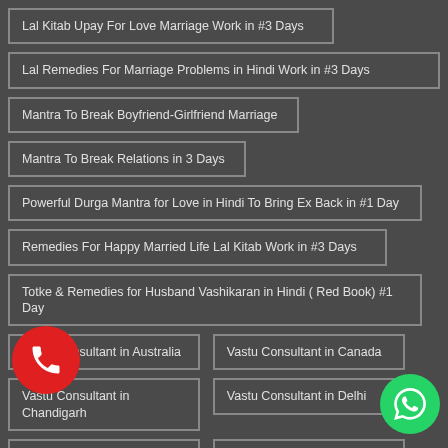Lal Kitab Upay For Love Marriage Work in #3 Days
Lal Remedies For Marriage Problems in Hindi Work in #3 Days
Mantra To Break Boyfriend-Girlfriend Marriage
Mantra To Break Relations in 3 Days
Powerful Durga Mantra for Love in Hindi To Bring Ex Back in #1 Day
Remedies For Happy Married Life Lal Kitab Work in #3 Days
Totke & Remedies for Husband Vashikaran in Hindi ( Red Book) #1 Day
Vastu Consultant in Australia
Vastu Consultant in Canada
Vastu Consultant in Chandigarh
Vastu Consultant in Delhi
Vastu Consultant in Kolkata
Vastu Consultant in Mumbai
Vastu Consultant in Singapore
Vastu Consultant in UK